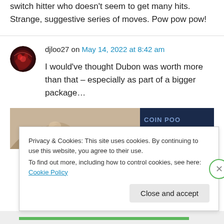switch hitter who doesn't seem to get many hits. Strange, suggestive series of moves. Pow pow pow!
djloo27 on May 14, 2022 at 8:42 am
I would've thought Dubon was worth more than that – especially as part of a bigger package…
[Figure (photo): Advertisement banner image showing hand fingers on left with dark navy blue panel on right]
Privacy & Cookies: This site uses cookies. By continuing to use this website, you agree to their use.
To find out more, including how to control cookies, see here: Cookie Policy